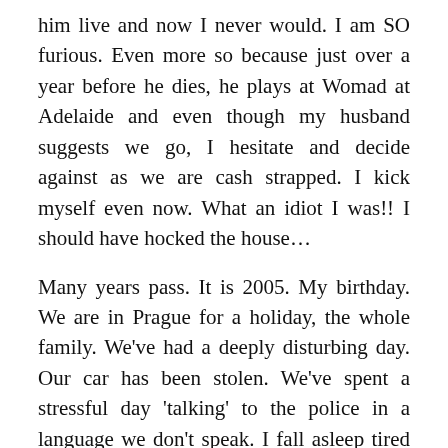him live and now I never would. I am SO furious. Even more so because just over a year before he dies, he plays at Womad at Adelaide and even though my husband suggests we go, I hesitate and decide against as we are cash strapped. I kick myself even now. What an idiot I was!! I should have hocked the house…
Many years pass. It is 2005. My birthday. We are in Prague for a holiday, the whole family. We've had a deeply disturbing day. Our car has been stolen. We've spent a stressful day 'talking' to the police in a language we don't speak. I fall asleep tired and sad. And I have this vivid dream, this lucid dream. NFAK comes to me with a Qawwali troupe.  He says 'I didn't know you loved me so much! Let me sing you something to make you feel better'. And I listen enthralled to the musical outpourings of this genius.  Now the memory of that stolen car only makes